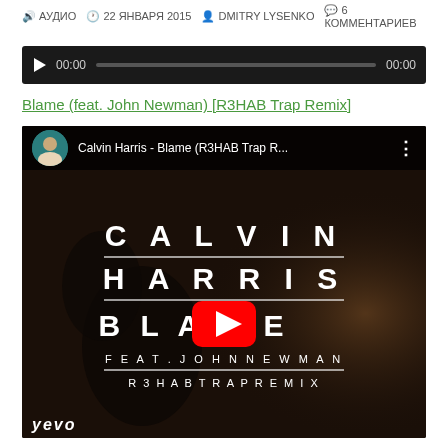🔊 АУДИО  🕐 22 ЯНВАРЯ 2015  👤 DMITRY LYSENKO  💬 6 КОММЕНТАРИЕВ
[Figure (screenshot): Audio player widget with dark background, play button, timestamp 00:00, progress bar, and end time 00:00]
Blame (feat. John Newman) [R3HAB Trap Remix]
[Figure (screenshot): YouTube video embed showing Calvin Harris - Blame (R3HAB Trap Remix) music video thumbnail with text CALVIN HARRIS BLAME FEAT. JOHN NEWMAN R3HAB TRAP REMIX, red YouTube play button, and VEVO logo]